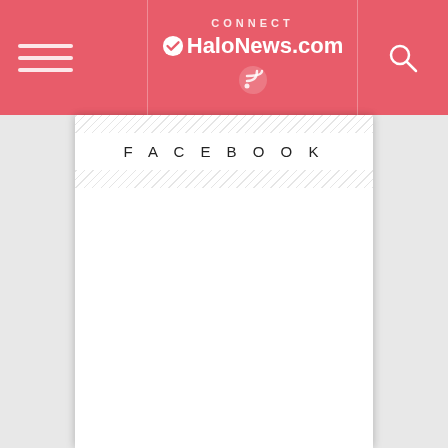CONNECT — HaloNews.com
FACEBOOK
STYLE